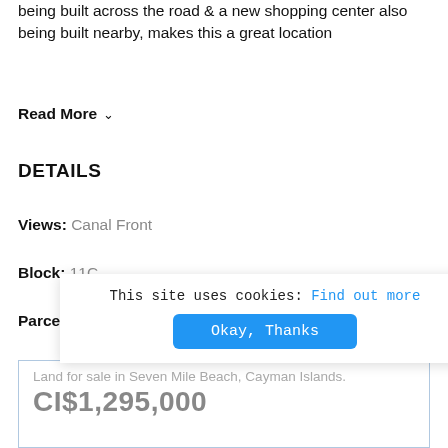being built across the road & a new shopping center also being built nearby, makes this a great location
Read More ∨
DETAILS
Views: Canal Front
Block: 11C
Parcel: 299
Acres: 0.2827
This site uses cookies: Find out more  Okay, Thanks
Land for sale in Seven Mile Beach, Cayman Islands.
CI$1,295,000